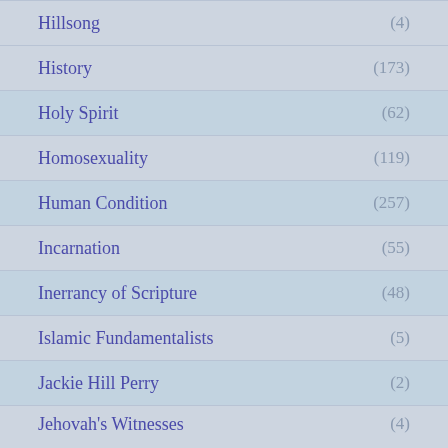Hillsong (4)
History (173)
Holy Spirit (62)
Homosexuality (119)
Human Condition (257)
Incarnation (55)
Inerrancy of Scripture (48)
Islamic Fundamentalists (5)
Jackie Hill Perry (2)
Jehovah's Witnesses (4)